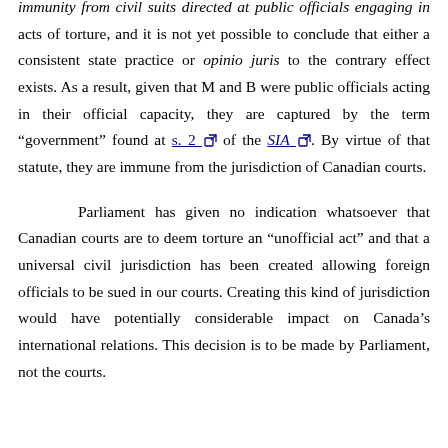immunity from civil suits directed at public officials engaging in acts of torture, and it is not yet possible to conclude that either a consistent state practice or opinio juris to the contrary effect exists. As a result, given that M and B were public officials acting in their official capacity, they are captured by the term “government” found at s. 2 of the SIA. By virtue of that statute, they are immune from the jurisdiction of Canadian courts.
Parliament has given no indication whatsoever that Canadian courts are to deem torture an “unofficial act” and that a universal civil jurisdiction has been created allowing foreign officials to be sued in our courts. Creating this kind of jurisdiction would have potentially considerable impact on Canada’s international relations. This decision is to be made by Parliament, not the courts.